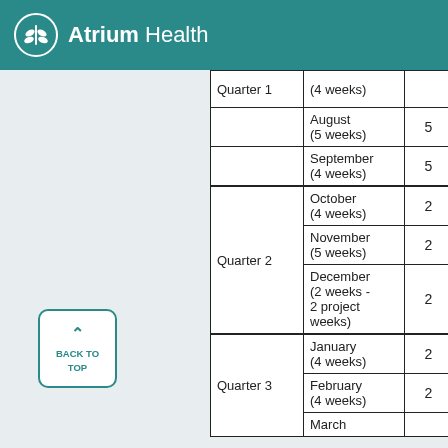Atrium Health
|  | Month |  |  |
| --- | --- | --- | --- |
| Quarter 1 | (4 weeks) |  | 2 |
|  | August (5 weeks) | 5 |  |
|  | September (4 weeks) | 5 |  |
| Quarter 2 | October (4 weeks) | 2 | 2 |
|  | November (5 weeks) | 2 | 2 |
|  | December (2 weeks - 2 project weeks) | 2 | 2 |
| Quarter 3 | January (4 weeks) | 2 | 2 |
|  | February (4 weeks) | 2 | 2 |
|  | March |  |  |